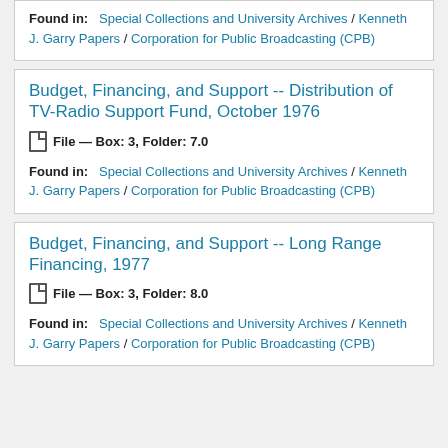Found in: Special Collections and University Archives / Kenneth J. Garry Papers / Corporation for Public Broadcasting (CPB)
Budget, Financing, and Support -- Distribution of TV-Radio Support Fund, October 1976
File — Box: 3, Folder: 7.0
Found in: Special Collections and University Archives / Kenneth J. Garry Papers / Corporation for Public Broadcasting (CPB)
Budget, Financing, and Support -- Long Range Financing, 1977
File — Box: 3, Folder: 8.0
Found in: Special Collections and University Archives / Kenneth J. Garry Papers / Corporation for Public Broadcasting (CPB)